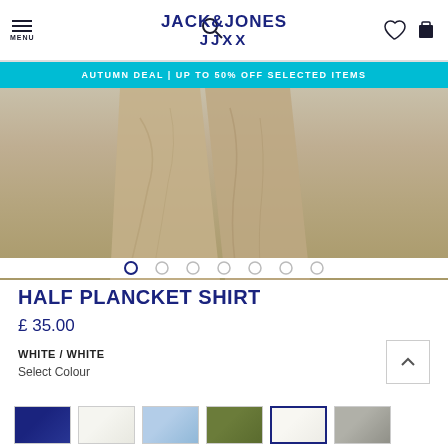JACK&JONES JJXX
AUTUMN DEAL | UP TO 50% OFF SELECTED ITEMS
[Figure (photo): Product photo showing lower half of a model wearing khaki/beige linen trousers against a light grey background. Carousel dots visible at bottom of image.]
HALF PLANCKET SHIRT
£ 35.00
WHITE / WHITE
Select Colour
[Figure (other): Row of six colour swatch thumbnails showing product in different colours: navy blue, white, light blue, olive green, white (selected with blue border), grey]